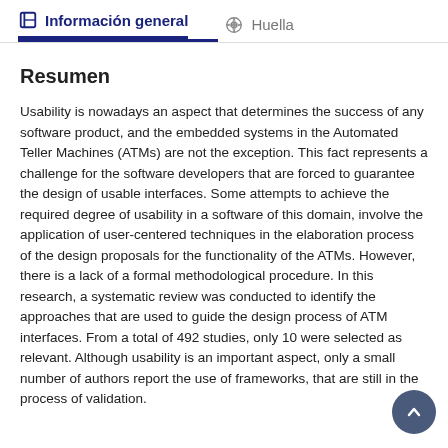Información general   Huella
Resumen
Usability is nowadays an aspect that determines the success of any software product, and the embedded systems in the Automated Teller Machines (ATMs) are not the exception. This fact represents a challenge for the software developers that are forced to guarantee the design of usable interfaces. Some attempts to achieve the required degree of usability in a software of this domain, involve the application of user-centered techniques in the elaboration process of the design proposals for the functionality of the ATMs. However, there is a lack of a formal methodological procedure. In this research, a systematic review was conducted to identify the approaches that are used to guide the design process of ATM interfaces. From a total of 492 studies, only 10 were selected as relevant. Although usability is an important aspect, only a small number of authors report the use of frameworks, that are still in the process of validation.